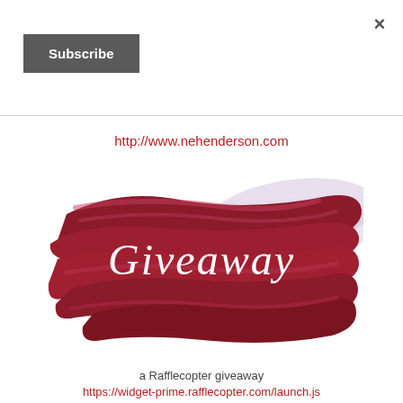[Figure (other): Close (X) button in top right corner]
[Figure (other): Subscribe button with dark gray background]
http://www.nehenderson.com
[Figure (illustration): Red brushstroke watercolor background with white cursive 'Giveaway' text]
a Rafflecopter giveaway
https://widget-prime.rafflecopter.com/launch.js